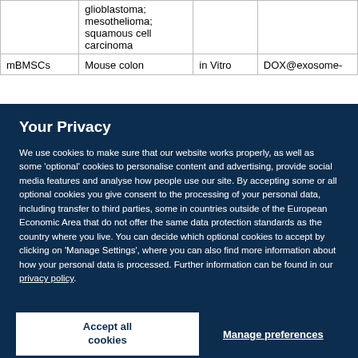|  | glioblastoma; mesothelioma; squamous cell carcinoma |  |  |
| mBMSCs | Mouse colon | in Vitro | DOX@exosome- |
Your Privacy
We use cookies to make sure that our website works properly, as well as some 'optional' cookies to personalise content and advertising, provide social media features and analyse how people use our site. By accepting some or all optional cookies you give consent to the processing of your personal data, including transfer to third parties, some in countries outside of the European Economic Area that do not offer the same data protection standards as the country where you live. You can decide which optional cookies to accept by clicking on 'Manage Settings', where you can also find more information about how your personal data is processed. Further information can be found in our privacy policy.
Accept all cookies
Manage preferences